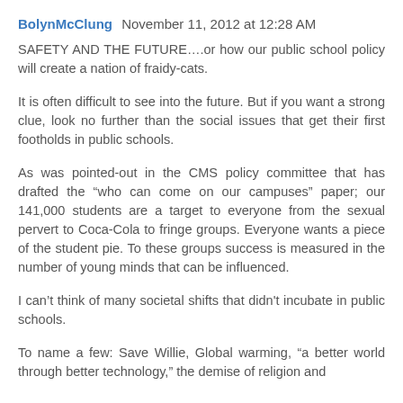BolynMcClung  November 11, 2012 at 12:28 AM
SAFETY AND THE FUTURE….or how our public school policy will create a nation of fraidy-cats.
It is often difficult to see into the future. But if you want a strong clue, look no further than the social issues that get their first footholds in public schools.
As was pointed-out in the CMS policy committee that has drafted the “who can come on our campuses” paper; our 141,000 students are a target to everyone from the sexual pervert to Coca-Cola to fringe groups. Everyone wants a piece of the student pie. To these groups success is measured in the number of young minds that can be influenced.
I can’t think of many societal shifts that didn't incubate in public schools.
To name a few: Save Willie, Global warming, “a better world through better technology,” the demise of religion and